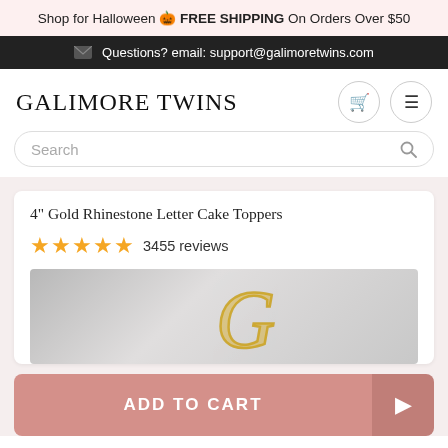Shop for Halloween 🎃 FREE SHIPPING On Orders Over $50
Questions? email: support@galimoretwins.com
GALIMORE TWINS
Search
4" Gold Rhinestone Letter Cake Toppers
★★★★★ 3455 reviews
[Figure (photo): Gold rhinestone letter cake topper on silver/grey background]
ADD TO CART